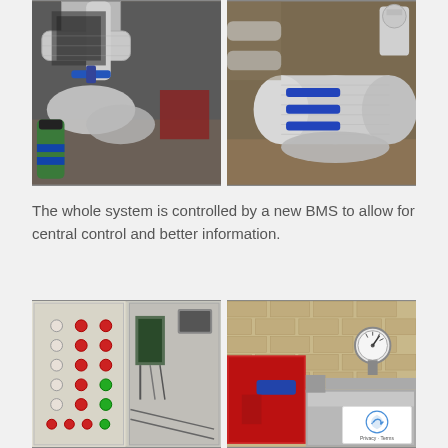[Figure (photo): Two side-by-side photos showing insulated pipework with blue-handled valves and silver foil insulation in an engineering/mechanical room setting.]
The whole system is controlled by a new BMS to allow for central control and better information.
[Figure (photo): Two side-by-side photos: left shows electrical control panels with red and green buttons/indicators; right shows large red and silver pipes with a pressure gauge mounted on a brick wall.]